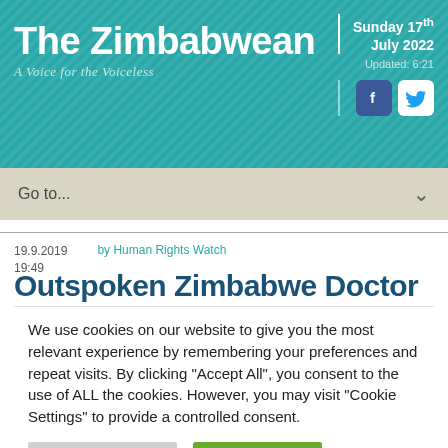The Zimbabwean – A Voice for the Voiceless
Sunday 17th July 2022 Updated: 6:21
Go to...
19.9.2019 19:49   by Human Rights Watch
Outspoken Zimbabwe Doctor
We use cookies on our website to give you the most relevant experience by remembering your preferences and repeat visits. By clicking "Accept All", you consent to the use of ALL the cookies. However, you may visit "Cookie Settings" to provide a controlled consent.
Cookie Settings   Accept All